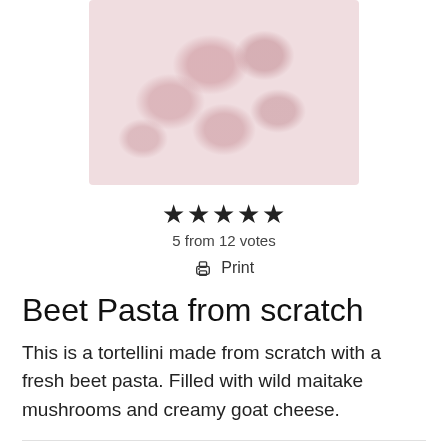[Figure (photo): Overhead photo of beet pasta tortellini, showing reddish-pink stuffed pasta pieces arranged closely together, partially cropped.]
★★★★★
5 from 12 votes
🖨 Print
Beet Pasta from scratch
This is a tortellini made from scratch with a fresh beet pasta. Filled with wild maitake mushrooms and creamy goat cheese.
Course Main Course
Cuisine Pasta
Keyword best somewhere tortellini